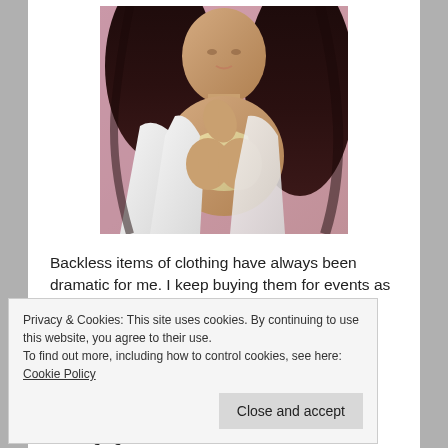[Figure (photo): Photo of a woman with dark hair wearing a white jacket open at the front with a light-colored top underneath]
Backless items of clothing have always been dramatic for me. I keep buying them for events as I usually love the style of the particular item of clothing and then I end up
Privacy & Cookies: This site uses cookies. By continuing to use this website, you agree to their use.
To find out more, including how to control cookies, see here: Cookie Policy
Close and accept
'loaned' me some of the medical tape for bandaging